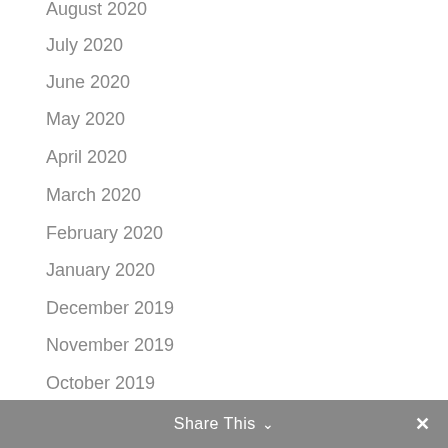August 2020
July 2020
June 2020
May 2020
April 2020
March 2020
February 2020
January 2020
December 2019
November 2019
October 2019
September 2019
Share This  ✓  ✕